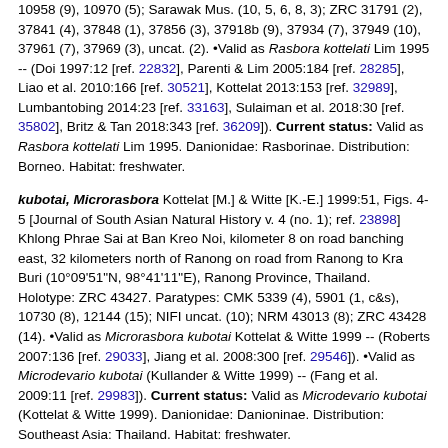10958 (9), 10970 (5); Sarawak Mus. (10, 5, 6, 8, 3); ZRC 31791 (2), 37841 (4), 37848 (1), 37856 (3), 37918b (9), 37934 (7), 37949 (10), 37961 (7), 37969 (3), uncat. (2). •Valid as Rasbora kottelati Lim 1995 -- (Doi 1997:12 [ref. 22832], Parenti & Lim 2005:184 [ref. 28285], Liao et al. 2010:166 [ref. 30521], Kottelat 2013:153 [ref. 32989], Lumbantobing 2014:23 [ref. 33163], Sulaiman et al. 2018:30 [ref. 35802], Britz & Tan 2018:343 [ref. 36209]). Current status: Valid as Rasbora kottelati Lim 1995. Danionidae: Rasborinae. Distribution: Borneo. Habitat: freshwater.
kubotai, Microrasbora Kottelat [M.] & Witte [K.-E.] 1999:51, Figs. 4-5 [Journal of South Asian Natural History v. 4 (no. 1); ref. 23898] Khlong Phrae Sai at Ban Kreo Noi, kilometer 8 on road banching east, 32 kilometers north of Ranong on road from Ranong to Kra Buri (10°09'51"N, 98°41'11"E), Ranong Province, Thailand. Holotype: ZRC 43427. Paratypes: CMK 5339 (4), 5901 (1, c&s), 10730 (8), 12144 (15); NIFI uncat. (10); NRM 43013 (8); ZRC 43428 (14). •Valid as Microrasbora kubotai Kottelat & Witte 1999 -- (Roberts 2007:136 [ref. 29033], Jiang et al. 2008:300 [ref. 29546]). •Valid as Microdevario kubotai (Kullander & Witte 1999) -- (Fang et al. 2009:11 [ref. 29983]). Current status: Valid as Microdevario kubotai (Kottelat & Witte 1999). Danionidae: Danioninae. Distribution: Southeast Asia: Thailand. Habitat: freshwater.
kyathit, Danio Fang [F.] 1998:275, Fig. 2-3, 5a [Ichthyological Exploration of Freshwaters v. 8 (no. 3); ref. 23299] About 16.5 kilometers northwest of Myitkyina, 25°32'08"N, 97°23'02"E, tributary of Ayeyarwaddy River, Hpa Lap Chaung stream, Myanmar. Holotype: